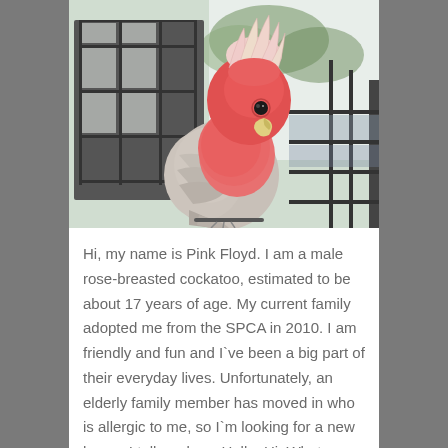[Figure (photo): A male rose-breasted cockatoo (galah) named Pink Floyd, sitting on or near a metal cage/rack, with a window and trees visible in the background. The bird has a vivid pink head and chest with a white crest raised, and lighter grey-white wings and back.]
Hi, my name is Pink Floyd. I am a male rose-breasted cockatoo, estimated to be about 17 years of age. My current family adopted me from the SPCA in 2010. I am friendly and fun and I`ve been a big part of their everyday lives. Unfortunately, an elderly family member has moved in who is allergic to me, so I`m looking for a new home. I talk and say Hello, Hi, What you doing?, Love you, and Love you too. I also step-up on command. Sometimes I am a little...